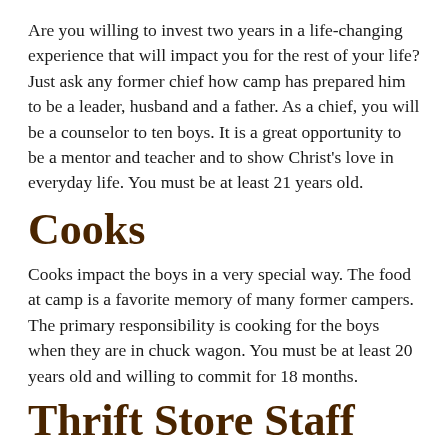Are you willing to invest two years in a life-changing experience that will impact you for the rest of your life? Just ask any former chief how camp has prepared him to be a leader, husband and a father. As a chief, you will be a counselor to ten boys. It is a great opportunity to be a mentor and teacher and to show Christ's love in everyday life. You must be at least 21 years old.
Cooks
Cooks impact the boys in a very special way. The food at camp is a favorite memory of many former campers. The primary responsibility is cooking for the boys when they are in chuck wagon. You must be at least 20 years old and willing to commit for 18 months.
Thrift Store Staff